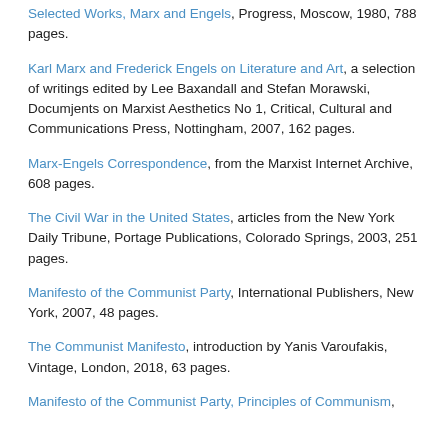Selected Works, Marx and Engels, Progress, Moscow, 1980, 788 pages.
Karl Marx and Frederick Engels on Literature and Art, a selection of writings edited by Lee Baxandall and Stefan Morawski, Documjents on Marxist Aesthetics No 1, Critical, Cultural and Communications Press, Nottingham, 2007, 162 pages.
Marx-Engels Correspondence, from the Marxist Internet Archive, 608 pages.
The Civil War in the United States, articles from the New York Daily Tribune, Portage Publications, Colorado Springs, 2003, 251 pages.
Manifesto of the Communist Party, International Publishers, New York, 2007, 48 pages.
The Communist Manifesto, introduction by Yanis Varoufakis, Vintage, London, 2018, 63 pages.
Manifesto of the Communist Party, Principles of Communism,